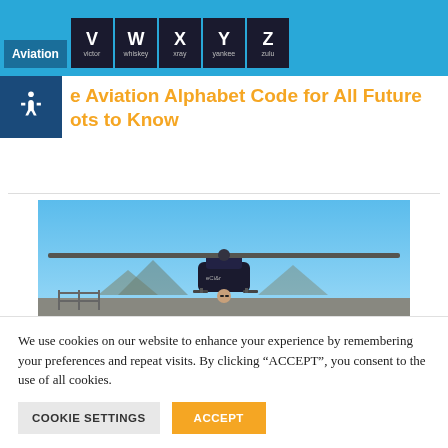Aviation — V victor, W whiskey, X xray, Y yankee, Z zulu
e Aviation Alphabet Code for All Future ots to Know
[Figure (photo): A helicopter on a tarmac with a person standing behind the rotor blades under a clear blue sky. Mountains visible in the background.]
We use cookies on our website to enhance your experience by remembering your preferences and repeat visits. By clicking "ACCEPT", you consent to the use of all cookies.
COOKIE SETTINGS   ACCEPT